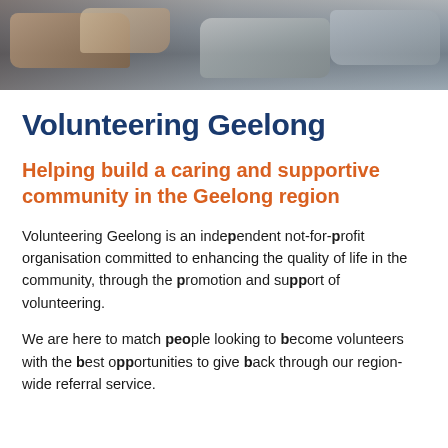[Figure (photo): Banner photo showing a pile of clothing/fabric items, people handling goods in a charity or volunteer setting]
Volunteering Geelong
Helping build a caring and supportive community in the Geelong region
Volunteering Geelong is an independent not-for-profit organisation committed to enhancing the quality of life in the community, through the promotion and support of volunteering.
We are here to match people looking to become volunteers with the best opportunities to give back through our region-wide referral service.